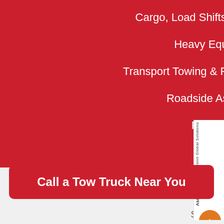Cargo, Load Shifts, and Transfers
Heavy Equipment
Transport Towing & Recovery Services
Roadside Assistance
RV Towing
24-HOUR SERVICE AREAS
Roblin
Mountain Grove
Call a Tow Truck Near You
Sherbot Lake